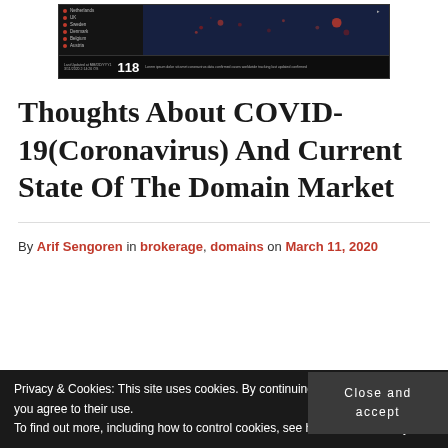[Figure (screenshot): COVID-19 tracking dashboard screenshot showing a dark map with country list on left, number 118, and timestamp 3/11/2020 2:14:26 OS]
Thoughts About COVID-19(Coronavirus) And Current State Of The Domain Market
By Arif Sengoren in brokerage, domains on March 11, 2020
Privacy & Cookies: This site uses cookies. By continuing to use this website, you agree to their use.
To find out more, including how to control cookies, see here: Cookie Policy